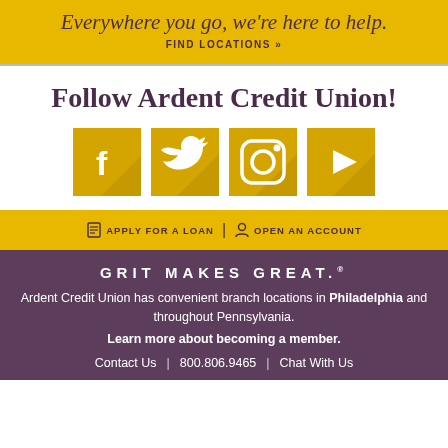Everywhere you go, we're here to help.
FIND LOCATIONS »
Follow Ardent Credit Union!
[Figure (illustration): Four social media icons (Facebook, Twitter, Instagram, YouTube) in golden yellow square buttons with shadow effect]
APPLY FOR A LOAN  |  OPEN AN ACCOUNT
GRIT MAKES GREAT.®
Ardent Credit Union has convenient branch locations in Philadelphia and throughout Pennsylvania. Learn more about becoming a member.
Contact Us  |  800.806.9465  |  Chat With Us